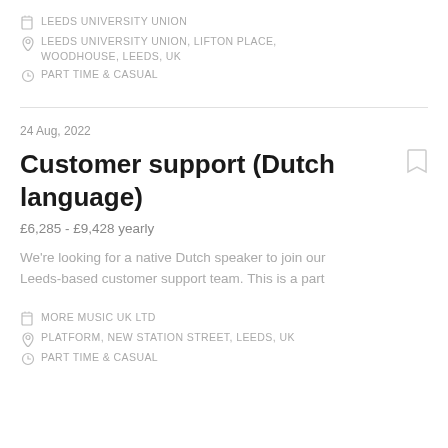LEEDS UNIVERSITY UNION
LEEDS UNIVERSITY UNION, LIFTON PLACE, WOODHOUSE, LEEDS, UK
PART TIME & CASUAL
24 Aug, 2022
Customer support (Dutch language)
£6,285 - £9,428 yearly
We're looking for a native Dutch speaker to join our Leeds-based customer support team. This is a part
MORE MUSIC UK LTD
PLATFORM, NEW STATION STREET, LEEDS, UK
PART TIME & CASUAL